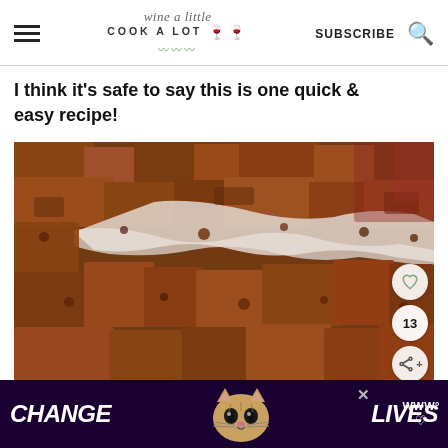wine a little COOK A LOT | SUBSCRIBE
I think it's safe to say this is one quick & easy recipe!
[Figure (photo): Close-up photo of pecan-crusted fish fillet with crunchy brown nut crust, served on rice, with action icons (heart, share count 13, share button) overlaid on the right side.]
[Figure (photo): Advertisement banner: dark purple background with 'CHANGE LIVES' text and cat face image, with close X button and right-side icon.]